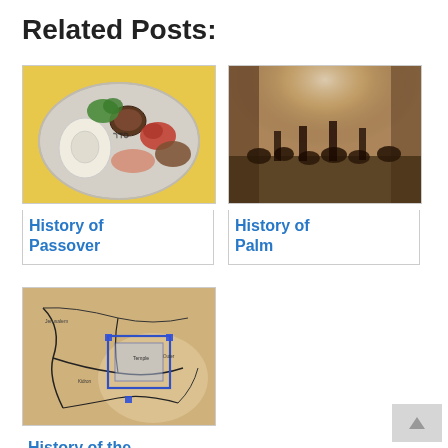Related Posts:
[Figure (photo): Photo of a Passover seder plate with various foods including a hard-boiled egg, herbs, and other traditional items on a yellow background]
History of Passover
[Figure (photo): Sepia-toned photo of a crowd of people gathered in what appears to be a narrow passage or alleyway with bright light above]
History of Palm
[Figure (map): A map with beige/tan background showing black outlines of paths and roads with a blue-outlined rectangular structure in the center and blue square markers]
History of the Trial: How